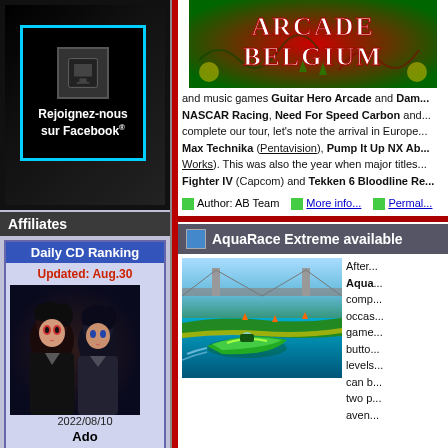[Figure (screenshot): Facebook join us box - 'Rejoignez-nous sur Facebook' on dark background with icon]
Affiliates
Daily CD Ranking
Updated: Aug.30
[Figure (illustration): Anime artwork - two characters with dark/red tones]
2022/08/10
Ado
[Shipping Estimate: late-AUG] Uta no Uta ONE PIECE FILM RED
[Figure (photo): Grid of small photos at bottom of sidebar]
[Figure (screenshot): Arcade Belgium banner - red and green game graphic]
and music games Guitar Hero Arcade and Dam... NASCAR Racing, Need For Speed Carbon and... complete our tour, let's note the arrival in Europe... Max Technika (Pentavision), Pump It Up NX Ab... Works). This was also the year when major titles... Fighter IV (Capcom) and Tekken 6 Bloodline Re...
Author: AB Team   More info...   Permal...
AquaRace Extreme available
[Figure (screenshot): AquaRace Extreme game screenshot - green speedboat on water]
After... Aqua... comp... occas... game... butto... levels... can b... two p... aven...